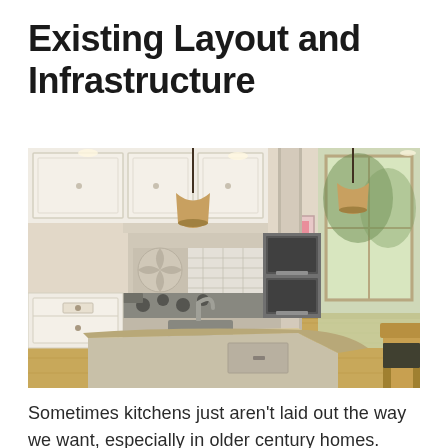Existing Layout and Infrastructure
[Figure (photo): Interior photo of a large, bright kitchen with white cabinetry, decorative tile backsplash, stainless steel appliances, pendant lights, a kitchen island with granite countertop, and wood flooring. Natural light comes in from windows on the right side.]
Sometimes kitchens just aren't laid out the way we want, especially in older century homes. Simply because your kitchen is designed one way does not mean it must remain with that footprint